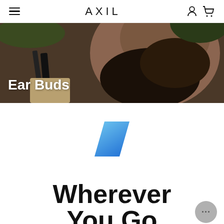AXIL
[Figure (photo): Close-up side profile of a bearded man wearing tactical gear with a strap visible, with green foliage in background]
Ear Buds
[Figure (logo): A blue diagonal parallelogram/slash shape - AXIL brand mark]
Wherever You Go